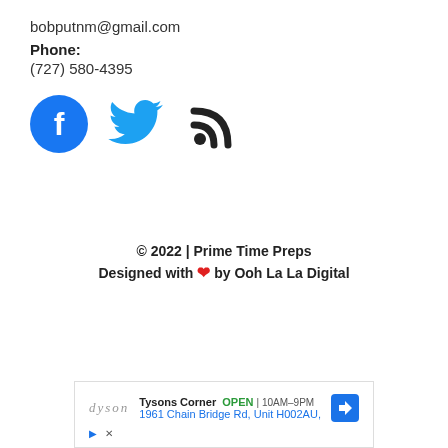bobputnm@gmail.com
Phone:
(727) 580-4395
[Figure (illustration): Social media icons: Facebook (blue circle with white f), Twitter (blue bird), and RSS feed (black wifi-style arc with dot)]
© 2022 | Prime Time Preps
Designed with ❤ by Ooh La La Digital
[Figure (other): Advertisement box: Dyson brand ad showing Tysons Corner store, OPEN 10AM-9PM, 1961 Chain Bridge Rd, Unit H002AU, with a blue direction arrow icon]